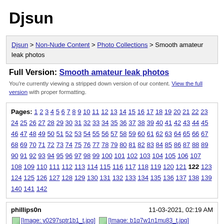Djsun
Djsun > Non-Nude Content > Photo Collections > Smooth amateur leak photos
Full Version: Smooth amateur leak photos
You're currently viewing a stripped down version of our content. View the full version with proper formatting.
Pages: 1 2 3 4 5 6 7 8 9 10 11 12 13 14 15 16 17 18 19 20 21 22 23 24 25 26 27 28 29 30 31 32 33 34 35 36 37 38 39 40 41 42 43 44 45 46 47 48 49 50 51 52 53 54 55 56 57 58 59 60 61 62 63 64 65 66 67 68 69 70 71 72 73 74 75 76 77 78 79 80 81 82 83 84 85 86 87 88 89 90 91 92 93 94 95 96 97 98 99 100 101 102 103 104 105 106 107 108 109 110 111 112 113 114 115 116 117 118 119 120 121 122 123 124 125 126 127 128 129 130 131 132 133 134 135 136 137 138 139 140 141 142
phillipson  11-03-2021, 02:19 AM
[Figure (photo): [Image: y0297sptr1b1_t.jpg]]
[Figure (photo): [Image: b1q7w1n1mu83_t.jpg]]
[Figure (photo): [Image: vnygzoaxdcfy_t.jpg]]
[Figure (photo): [Image: ve5txrpnm6ey_t.jpg]]
[Figure (photo): [Image: m9s84opk3rzd_t.jpg]]
[Figure (photo): [Image: 3gh3o67isc33_t.jpg]]